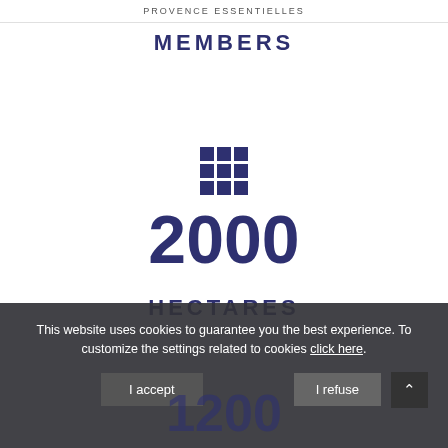PROVENCE ESSENTIELLES
MEMBERS
[Figure (other): 3x3 grid icon in dark navy/indigo color representing a grid or menu]
2000
HECTARES
This website uses cookies to guarantee you the best experience. To customize the settings related to cookies click here.
I refuse
I accept
1200